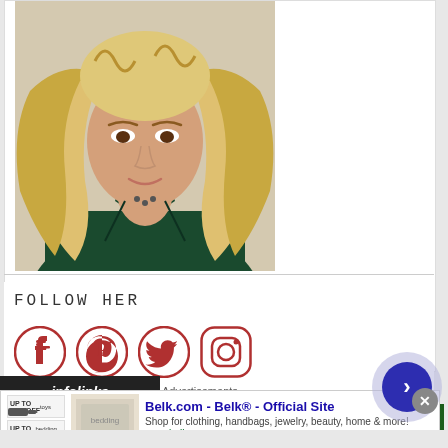[Figure (photo): Close-up photograph of a woman with long blonde wavy hair wearing a dark green blouse/shirt with a delicate necklace]
FOLLOW HER
[Figure (infographic): Social media icons: Facebook, Pinterest, Twitter, Instagram — all in a dark red/crimson color]
Advertisements
[Figure (screenshot): Green advertisement banner (infolinks / green star pattern ad)]
[Figure (screenshot): Belk.com advertisement overlay: 'Belk.com - Belk® - Official Site — Shop for clothing, handbags, jewelry, beauty, home & more! www.belk.com']